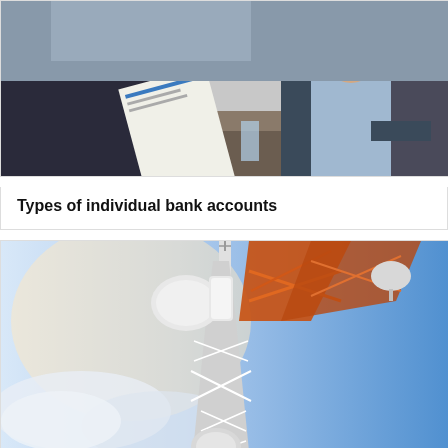[Figure (photo): Business meeting photo: people in suits reviewing documents at a table]
Types of individual bank accounts
[Figure (photo): Telecommunications tower with satellite dishes and antennas against a blue sky]
Telecom carriers – product and support